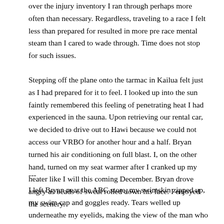over the injury inventory I ran through perhaps more often than necessary. Regardless, traveling to a race I felt less than prepared for resulted in more pre race mental steam than I cared to wade through. Time does not stop for such issues.
Stepping off the plane onto the tarmac in Kailua felt just as I had prepared for it to feel. I looked up into the sun faintly remembered this feeling of penetrating heat I had experienced in the sauna. Upon retrieving our rental car, we decided to drive out to Hawi because we could not access our VRBO for another hour and a half. Bryan turned his air conditioning on full blast. I, on the other hand, turned on my seat warmer after I cranked up my heater like I will this coming December. Bryan drove angry as beads of sweat rolled down his face. I enjoyed the scenery.
---
I left Bryan near the ABC store, my swimskin zipped up, my swim cap and goggles ready. Tears welled up underneathe my eyelids, making the view of the man who also had sacrificed so much to ensure I succeeded in making my presence here, all the more blurry. Yet through my compromised vision,